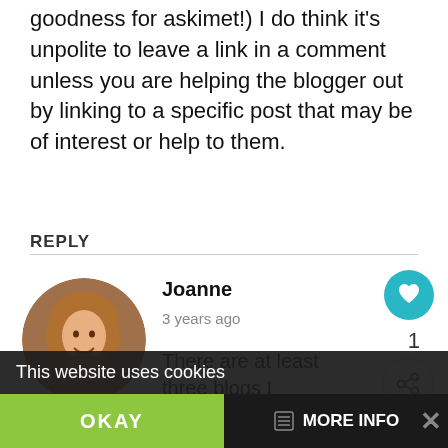goodness for askimet!) I do think it's unpolite to leave a link in a comment unless you are helping the blogger out by linking to a specific post that may be of interest or help to them.
REPLY
Joanne
3 years ago
There are at least three blogs I comment on regularly th...
Commentluv enabled.... and now
This website uses cookies
OKAY
MORE INFO